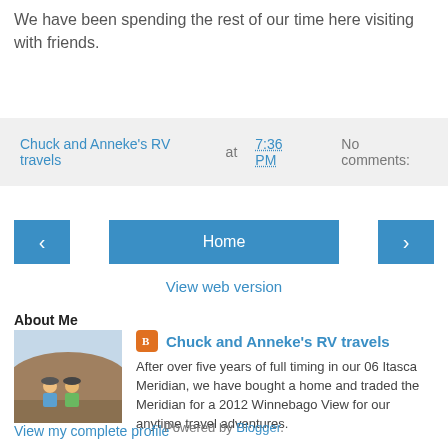We have been spending the rest of our time here visiting with friends.
Chuck and Anneke's RV travels at 7:36 PM   No comments:
[Figure (other): Navigation bar with left arrow button, Home button, and right arrow button]
View web version
About Me
[Figure (photo): Photo of two people standing outdoors with rocky hills in the background]
Chuck and Anneke's RV travels
After over five years of full timing in our 06 Itasca Meridian, we have bought a home and traded the Meridian for a 2012 Winnebago View for our anytime travel adventures.
View my complete profile
Powered by Blogger.